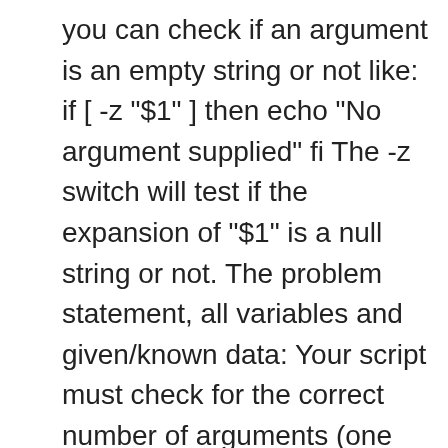you can check if an argument is an empty string or not like: if [ -z "$1" ] then echo "No argument supplied" fi The -z switch will test if the expansion of "$1" is a null string or not. The problem statement, all variables and given/known data: Your script must check for the correct number of arguments (one argument). #!/bin/bash # param-sub.sh # Whether a variable has been declared #+ affects triggering of the default option #+ even if the variable is null. If the arguments are less than 3 or greater than 3, then it will not execute and if the arguments passed are three then it will continue the processing. Doesn't matter. If not, you can discuss it with me in the, Bash – Check Number